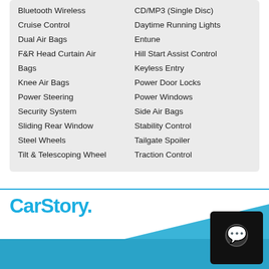Bluetooth Wireless, Cruise Control, Dual Air Bags, F&R Head Curtain Air Bags, Knee Air Bags, Power Steering, Security System, Sliding Rear Window, Steel Wheels, Tilt & Telescoping Wheel
CD/MP3 (Single Disc), Daytime Running Lights, Entune, Hill Start Assist Control, Keyless Entry, Power Door Locks, Power Windows, Side Air Bags, Stability Control, Tailgate Spoiler, Traction Control
[Figure (logo): CarStory logo in blue with a registered trademark dot]
[Figure (illustration): Blue diagonal shape filling lower right portion of page, with a dark camera/chat icon in the lower right corner]